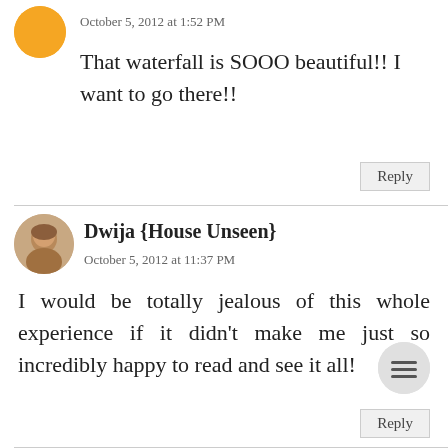[Figure (photo): Orange circle avatar at top left]
October 5, 2012 at 1:52 PM
That waterfall is SOOO beautiful!! I want to go there!!
Reply
[Figure (photo): Round profile photo of Dwija, a person shown close up]
Dwija {House Unseen}
October 5, 2012 at 11:37 PM
I would be totally jealous of this whole experience if it didn't make me just so incredibly happy to read and see it all!
Reply